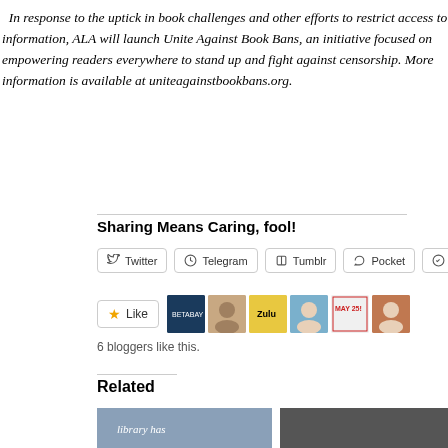In response to the uptick in book challenges and other efforts to restrict access to information, ALA will launch Unite Against Book Bans, an initiative focused on empowering readers everywhere to stand up and fight against censorship. More information is available at uniteagainstbookbans.org.
Sharing Means Caring, fool!
Twitter  Telegram  Tumblr  Pocket  Pinterest
Like  6 bloggers like this.
Related